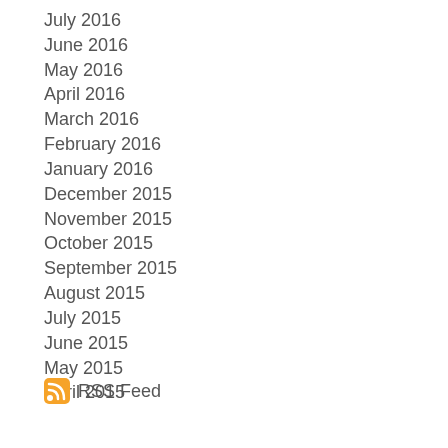July 2016
June 2016
May 2016
April 2016
March 2016
February 2016
January 2016
December 2015
November 2015
October 2015
September 2015
August 2015
July 2015
June 2015
May 2015
April 2015
RSS Feed